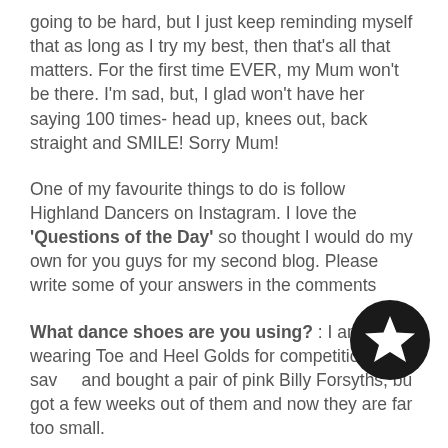going to be hard, but I just keep reminding myself that as long as I try my best, then that's all that matters. For the first time EVER, my Mum won't be there. I'm sad, but, I glad won't have her saying 100 times- head up, knees out, back straight and SMILE! Sorry Mum!
One of my favourite things to do is follow Highland Dancers on Instagram. I love the 'Questions of the Day' so thought I would do my own for you guys for my second blog. Please write some of your answers in the comments
What dance shoes are you using? : I am wearing Toe and Heel Golds for competitions. I saved and bought a pair of pink Billy Forsyths, but got a few weeks out of them and now they are far too small.